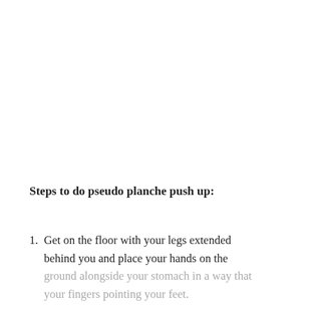Steps to do pseudo planche push up:
Get on the floor with your legs extended behind you and place your hands on the ground alongside your stomach in a way that your fingers pointing your feet.